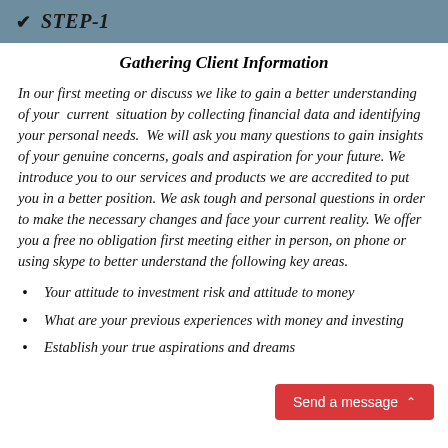✔ STEP-1
Gathering Client Information
In our first meeting or discuss we like to gain a better understanding of your  current  situation by collecting financial data and identifying your personal needs.  We will ask you many questions to gain insights of your genuine concerns, goals and aspiration for your future. We introduce you to our services and products we are accredited to put you in a better position. We ask tough and personal questions in order to make the necessary changes and face your current reality. We offer you a free no obligation first meeting either in person, on phone or using skype to better understand the following key areas.
Your attitude to investment risk and attitude to money
What are your previous experiences with money and investing
Establish your true aspirations and dreams